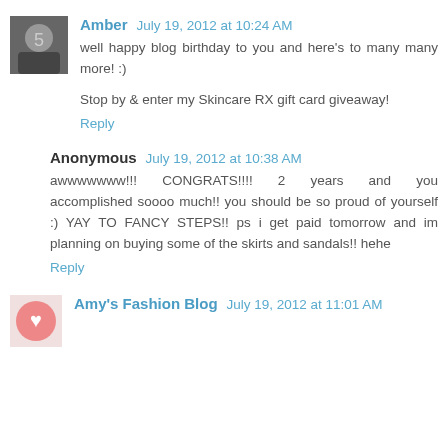Amber  July 19, 2012 at 10:24 AM
well happy blog birthday to you and here's to many many more! :)
Stop by & enter my Skincare RX gift card giveaway!
Reply
Anonymous  July 19, 2012 at 10:38 AM
awwwwwww!!!  CONGRATS!!!!  2  years  and  you accomplished soooo much!! you should be so proud of yourself :) YAY TO FANCY STEPS!! ps i get paid tomorrow and im planning on buying some of the skirts and sandals!! hehe
Reply
Amy's Fashion Blog  July 19, 2012 at 11:01 AM